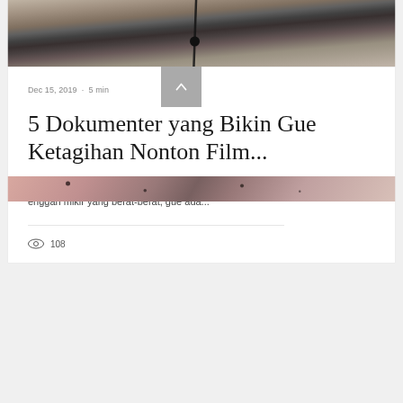[Figure (photo): Top portion of a photo showing a camera on a tripod against a rocky outdoor background]
Dec 15, 2019  ·  5 min
5 Dokumenter yang Bikin Gue Ketagihan Nonton Film...
Buat lo yang gatel pengen lagi nonton film dokumenter dengan tema ringan & enggan mikir yang berat-berat, gue ada...
108
[Figure (photo): Bottom portion showing a close-up food or nature photo with dark spots on a colorful background]